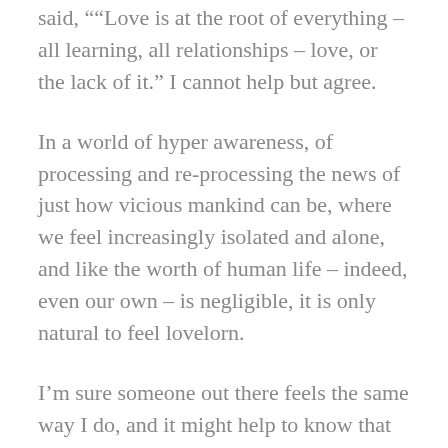said, ““Love is at the root of everything – all learning, all relationships – love, or the lack of it.” I cannot help but agree.
In a world of hyper awareness, of processing and re-processing the news of just how vicious mankind can be, where we feel increasingly isolated and alone, and like the worth of human life – indeed, even our own – is negligible, it is only natural to feel lovelorn.
I’m sure someone out there feels the same way I do, and it might help to know that you are not alone. The mission is